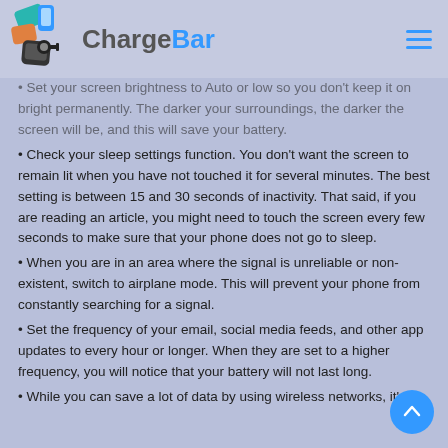ChargeBar
Set your screen brightness to Auto or low so you don't keep it on bright permanently. The darker your surroundings, the darker the screen will be, and this will save your battery.
Check your sleep settings function. You don't want the screen to remain lit when you have not touched it for several minutes. The best setting is between 15 and 30 seconds of inactivity. That said, if you are reading an article, you might need to touch the screen every few seconds to make sure that your phone does not go to sleep.
When you are in an area where the signal is unreliable or non-existent, switch to airplane mode. This will prevent your phone from constantly searching for a signal.
Set the frequency of your email, social media feeds, and other app updates to every hour or longer. When they are set to a higher frequency, you will notice that your battery will not last long.
While you can save a lot of data by using wireless networks, it's